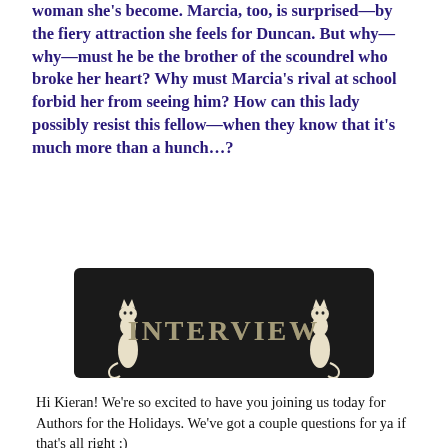woman she's become. Marcia, too, is surprised—by the fiery attraction she feels for Duncan. But why—why—must he be the brother of the scoundrel who broke her heart? Why must Marcia's rival at school forbid her from seeing him? How can this lady possibly resist this fellow—when they know that it's much more than a hunch…?
[Figure (illustration): Dark banner/logo graphic with two white cats on either side and the word INTERVIEW in decorative speckled lettering in the center, on a black distressed background.]
Hi Kieran! We're so excited to have you joining us today for Authors for the Holidays. We've got a couple questions for ya if that's all right :)
I found your books this past summer and have really been enjoying them. I'm still all aswoon over Duncan from your latest book Loving Lady Marcia. Just *loved* that man. But for the new readers out there could you tell us a little bit about your newest series and how it came about?
I woke up one night at 1 a.m. with the thought